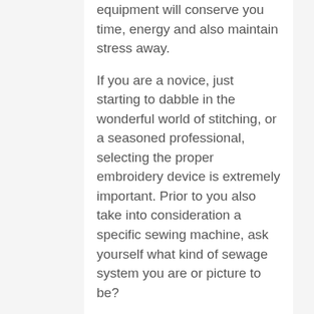equipment will conserve you time, energy and also maintain stress away.
If you are a novice, just starting to dabble in the wonderful world of stitching, or a seasoned professional, selecting the proper embroidery device is extremely important. Prior to you also take into consideration a specific sewing machine, ask yourself what kind of sewage system you are or picture to be?
After that you should decide what functions are necessary to you and your price array. Recognizing your demands beforehand will certainly aid you select the very best device for you.
There are primarily 2 sorts of stitching